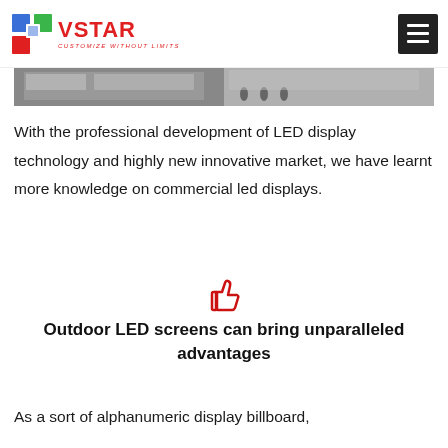VSTAR — CUSTOMIZE WITHOUT LIMITS
[Figure (photo): Outdoor LED display billboard installation on building exterior, street scene with people]
With the professional development of LED display technology and highly new innovative market, we have learnt more knowledge on commercial led displays.
[Figure (illustration): Red thumbs-up icon]
Outdoor LED screens can bring unparalleled advantages
As a sort of alphanumeric display billboard,